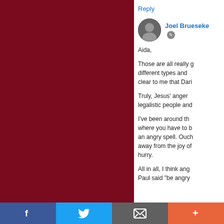[Figure (photo): Dark maroon/burgundy colored left panel, likely a cropped decorative image or background]
Reply
[Figure (photo): Small circular avatar photo of Joel Brueseke]
Joel Brueseke
Aida,
Those are all really g... different types and ... clear to me that Dari...
Truly, Jesus' anger... legalistic people and...
I've been around th... where you have to b... an angry spell. Ouch... away from the joy of... hurry.
All in all, I think ang... Paul said "be angry...
[Figure (infographic): Bottom social share bar with Facebook, Twitter, Email, and More (+) buttons]